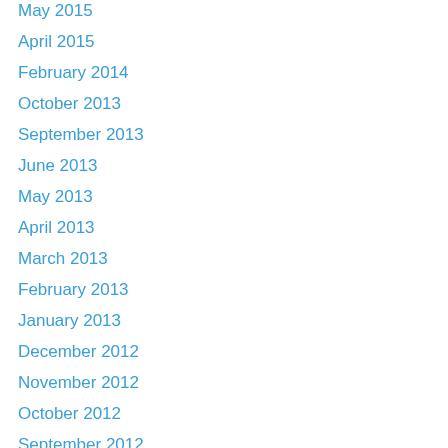May 2015
April 2015
February 2014
October 2013
September 2013
June 2013
May 2013
April 2013
March 2013
February 2013
January 2013
December 2012
November 2012
October 2012
September 2012
August 2012
July 2012
June 2012
May 2012
April 2012